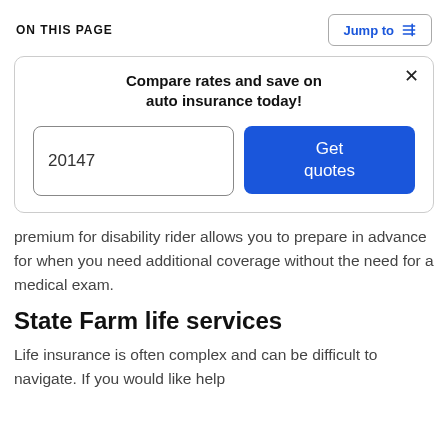ON THIS PAGE
Jump to
Compare rates and save on auto insurance today!
20147
Get quotes
premium for disability rider allows you to prepare in advance for when you need additional coverage without the need for a medical exam.
State Farm life services
Life insurance is often complex and can be difficult to navigate. If you would like help